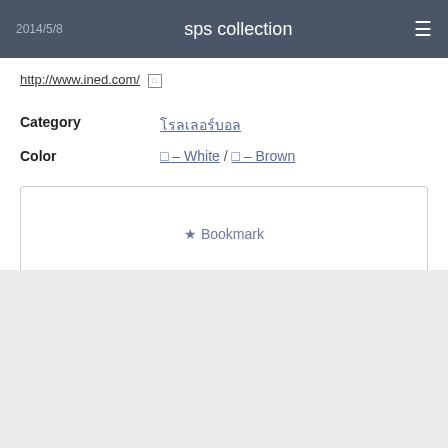2014/5/8  sps collection
http://www.ined.com/
| Category | โรลเลอร์บอล |
| Color | □ – White / □ – Brown |
★ Bookmark